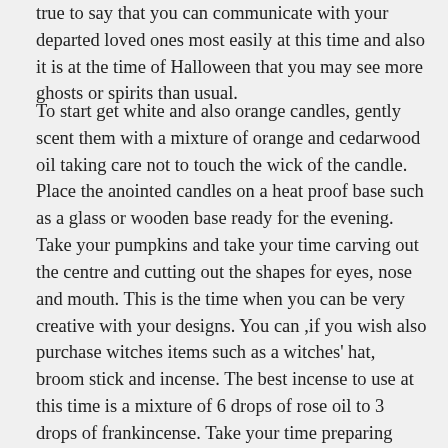true to say that you can communicate with your departed loved ones most easily at this time and also it is at the time of Halloween that you may see more ghosts or spirits than usual.
To start get white and also orange candles, gently scent them with a mixture of orange and cedarwood oil taking care not to touch the wick of the candle. Place the anointed candles on a heat proof base such as a glass or wooden base ready for the evening. Take your pumpkins and take your time carving out the centre and cutting out the shapes for eyes, nose and mouth. This is the time when you can be very creative with your designs. You can ,if you wish also purchase witches items such as a witches' hat, broom stick and incense. The best incense to use at this time is a mixture of 6 drops of rose oil to 3 drops of frankincense. Take your time preparing everything and remember energy follows thought, so think of loving thoughts while you enjoy preparing for the evening ritual. If like me, you have many neighbours with children, then you will also need: Apples Or toffee apples Sweets Oranges Chocolate And even a few golden chocolate coins for the trick or treaters!